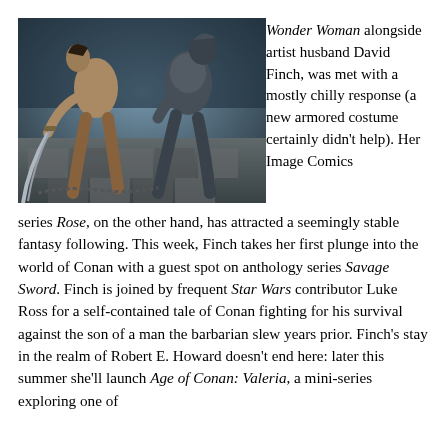[Figure (illustration): Comic book illustration showing two muscular warriors in combat — a near-naked barbarian wielding a large sword facing an armored figure, on a stone-tiled floor with a dark atmospheric background.]
Wonder Woman alongside artist husband David Finch, was met with a mostly chilly response (a new armored costume certainly didn't help). Her Image Comics series Rose, on the other hand, has attracted a seemingly stable fantasy following. This week, Finch takes her first plunge into the world of Conan with a guest spot on anthology series Savage Sword. Finch is joined by frequent Star Wars contributor Luke Ross for a self-contained tale of Conan fighting for his survival against the son of a man the barbarian slew years prior. Finch's stay in the realm of Robert E. Howard doesn't end here: later this summer she'll launch Age of Conan: Valeria, a mini-series exploring one of